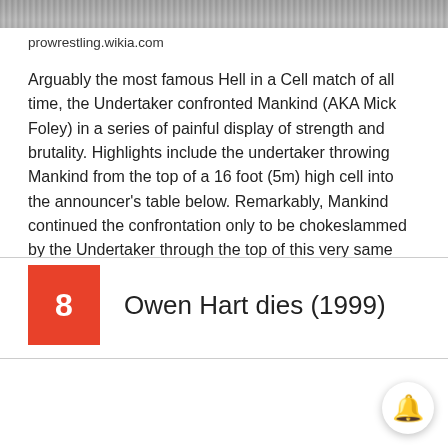[Figure (photo): Top partial image showing metal cage/cell structure (cropped at top)]
prowrestling.wikia.com
Arguably the most famous Hell in a Cell match of all time, the Undertaker confronted Mankind (AKA Mick Foley) in a series of painful display of strength and brutality. Highlights include the undertaker throwing Mankind from the top of a 16 foot (5m) high cell into the announcer's table below. Remarkably, Mankind continued the confrontation only to be chokeslammed by the Undertaker through the top of this very same Cell.
8 Owen Hart dies (1999)
[Figure (photo): Two photos of Owen Hart: left photo shows him smiling against blue background, right photo shows him in costume with hat and goggles]